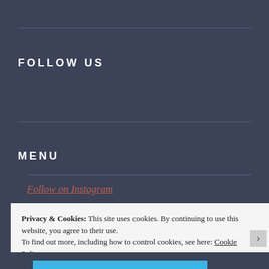FOLLOW US
MENU
Follow on Instagram
Privacy & Cookies: This site uses cookies. By continuing to use this website, you agree to their use.
To find out more, including how to control cookies, see here: Cookie Policy
Close and accept